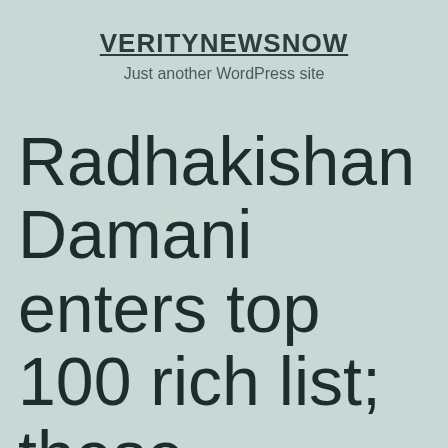VERITYNEWSNOW
Just another WordPress site
Radhakishan Damani enters top 100 rich list; these